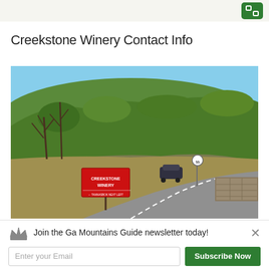Creekstone Winery Contact Info
[Figure (photo): Outdoor road scene showing the entrance to Creekstone Winery. A red sign reading 'CREEKSTONE WINERY' with a directional arrow is visible on the left side of a road. A wooded hill with green trees is in the background, with a blue sky above. A dark car is visible on the curving road, and a stone wall/entrance structure is on the right side.]
Join the Ga Mountains Guide newsletter today!
Enter your Email
Subscribe Now